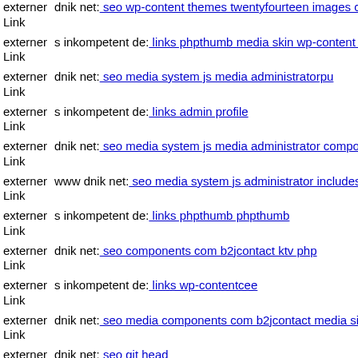externer Link dnik net: seo wp-content themes twentyfourteen images c...
externer Link s inkompetent de: links phpthumb media skin wp-content p...
externer Link dnik net: seo media system js media administratorpu
externer Link s inkompetent de: links admin profile
externer Link dnik net: seo media system js media administrator compone...
externer Link www dnik net: seo media system js administrator includes p...
externer Link s inkompetent de: links phpthumb phpthumb
externer Link dnik net: seo components com b2jcontact ktv php
externer Link s inkompetent de: links wp-contentcee
externer Link dnik net: seo media components com b2jcontact media sites...
externer Link dnik net: seo git head
externer Link dnik net: seo administrator wp-content themes pinshop s ink...